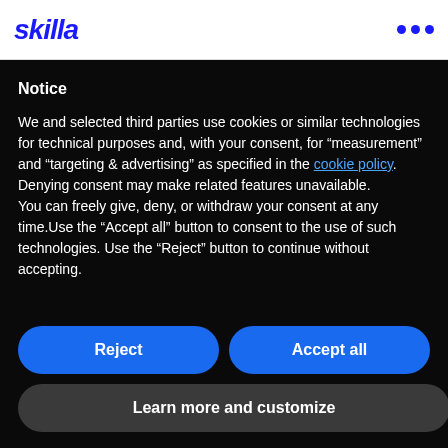company's training needs. The practical approach
[Figure (logo): Skilla logo in blue italic bold text]
Notice
We and selected third parties use cookies or similar technologies for technical purposes and, with your consent, for “measurement” and “targeting & advertising” as specified in the cookie policy. Denying consent may make related features unavailable.
You can freely give, deny, or withdraw your consent at any time.Use the “Accept all” button to consent to the use of such technologies. Use the “Reject” button to continue without accepting.
Reject
Accept all
Learn more and customize